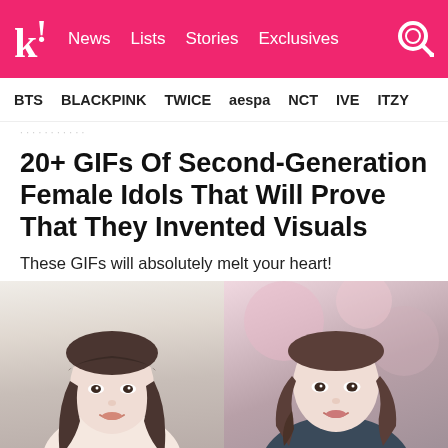k! News Lists Stories Exclusives
BTS BLACKPINK TWICE aespa NCT IVE ITZY
20+ GIFs Of Second-Generation Female Idols That Will Prove That They Invented Visuals
These GIFs will absolutely melt your heart!
[Figure (photo): Two photos of K-pop female idols side by side. Left: a young woman with bangs and long brown hair on a white background. Right: a young woman with long wavy brown hair smiling, blurred pink background.]